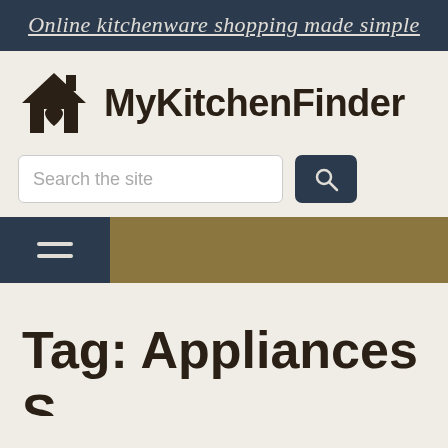Online kitchenware shopping made simple
MyKitchenFinder
Tag: Appliances